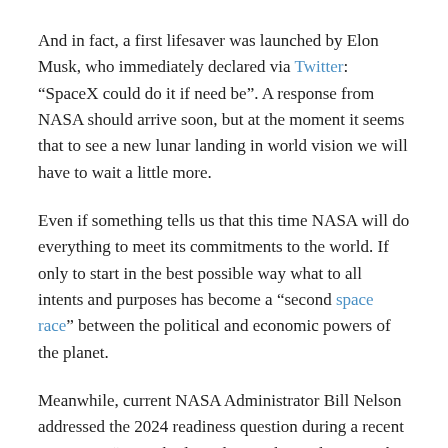And in fact, a first lifesaver was launched by Elon Musk, who immediately declared via Twitter: “SpaceX could do it if need be”. A response from NASA should arrive soon, but at the moment it seems that to see a new lunar landing in world vision we will have to wait a little more.
Even if something tells us that this time NASA will do everything to meet its commitments to the world. If only to start in the best possible way what to all intents and purposes has become a “second space race” between the political and economic powers of the planet.
Meanwhile, current NASA Administrator Bill Nelson addressed the 2024 readiness question during a recent interview: “I’m soberly realistic. The goal is 2024, but space is hard. And we know when you are pushing the edge of the envelope, often there are delays. There’s a No. 1 factor and that’s safety, and it’s involving humans. There might be a delay, but the goal is late 2024.”